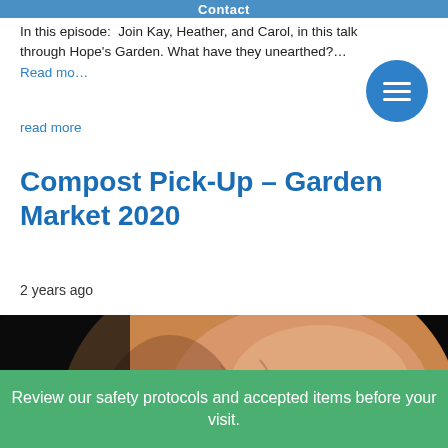Contact
In this episode:  Join Kay, Heather, and Carol, in this talk through Hope's Garden. What have they unearthed?… Read mo…
read more
Compost Pick-Up – Garden Market 2020
2 years ago
[Figure (photo): Close-up photograph of a hand holding or touching soil/compost with a small green plant visible at the bottom edge, on a dark background.]
Review our safety protocols and accepted items before your visit.